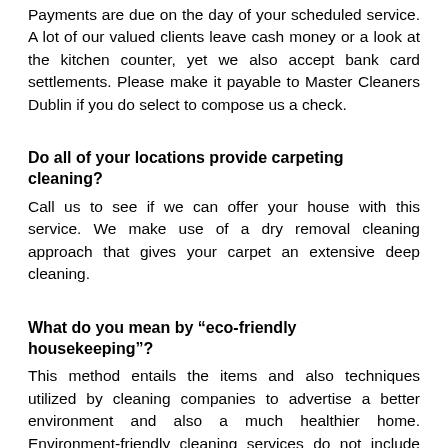Payments are due on the day of your scheduled service. A lot of our valued clients leave cash money or a look at the kitchen counter, yet we also accept bank card settlements. Please make it payable to Master Cleaners Dublin if you do select to compose us a check.
Do all of your locations provide carpeting cleaning?
Call us to see if we can offer your house with this service. We make use of a dry removal cleaning approach that gives your carpet an extensive deep cleaning.
What do you mean by “eco-friendly housekeeping”?
This method entails the items and also techniques utilized by cleaning companies to advertise a better environment and also a much healthier home. Environment-friendly cleaning services do not include ozone diminishing chemicals or combustible compounds that can aggravate the skin and also cause breathing diseases.